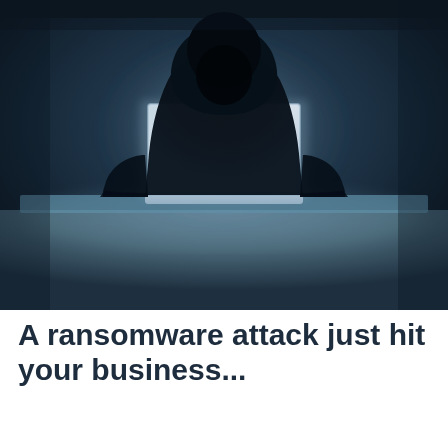[Figure (photo): Dark, moody photograph of a hooded figure (hacker) silhouetted in darkness, seated behind a glowing laptop computer. The scene is lit with cool blue tones, emphasizing the anonymous, threatening nature of a cybercriminal.]
A ransomware attack just hit your business...